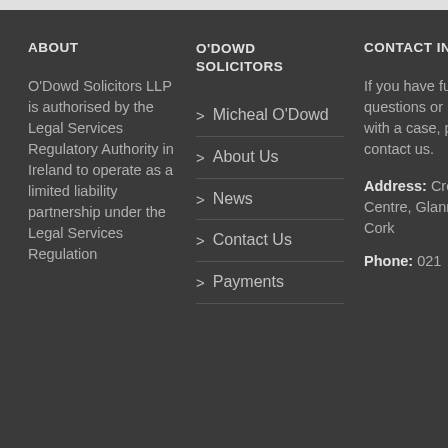ABOUT
O'Dowd Solicitors LLP is authorised by the Legal Services Regulatory Authority in Ireland to operate as a limited liability partnership under the Legal Services Regulation
O'DOWD SOLICITORS
> Micheal O'Dowd
> About Us
> News
> Contact Us
> Payments
CONTACT INFO
If you have further questions or need help with a case, please contact us.
Address: Crestfield Centre, Glanmire, Cork
Phone: 021